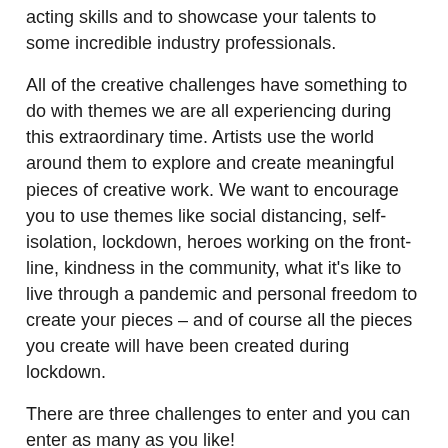acting skills and to showcase your talents to some incredible industry professionals.
All of the creative challenges have something to do with themes we are all experiencing during this extraordinary time. Artists use the world around them to explore and create meaningful pieces of creative work. We want to encourage you to use themes like social distancing, self-isolation, lockdown, heroes working on the front-line, kindness in the community, what it's like to live through a pandemic and personal freedom to create your pieces – and of course all the pieces you create will have been created during lockdown.
There are three challenges to enter and you can enter as many as you like!
The Choreography Challenge: choreograph your own dance exploring themes of lockdown, isolation and dreams of freedom.